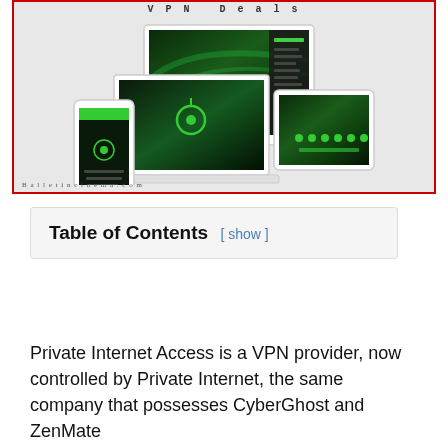[Figure (screenshot): Screenshot/promotional image showing VPN Deals banner with multiple devices (desktop monitor, laptop, tablet, smartphone) displaying a dark green aurora background with VPN software UI. Border is red. Watermark reads 'Balletincinema.com'.]
Table of Contents [ show ]
Private Internet Access is a VPN provider, now controlled by Private Internet, the same company that possesses CyberGhost and ZenMate